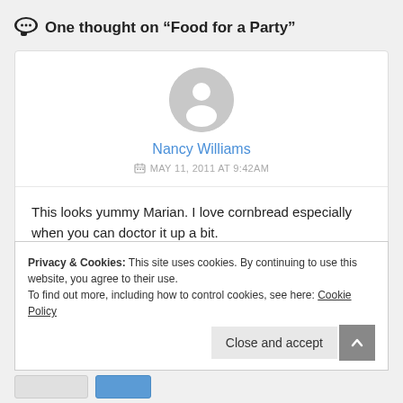One thought on “Food for a Party”
[Figure (illustration): Default user avatar: grey circle with white silhouette of a person]
Nancy Williams
MAY 11, 2011 AT 9:42AM
This looks yummy Marian. I love cornbread especially when you can doctor it up a bit.
Nancy
Privacy & Cookies: This site uses cookies. By continuing to use this website, you agree to their use.
To find out more, including how to control cookies, see here: Cookie Policy
Close and accept